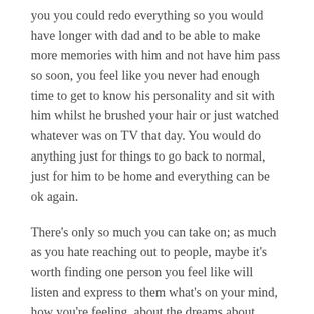you you could redo everything so you would have longer with dad and to be able to make more memories with him and not have him pass so soon, you feel like you never had enough time to get to know his personality and sit with him whilst he brushed your hair or just watched whatever was on TV that day. You would do anything just for things to go back to normal, just for him to be home and everything can be ok again.
There's only so much you can take on; as much as you hate reaching out to people, maybe it's worth finding one person you feel like will listen and express to them what's on your mind, how you're feeling, about the dreams about everything because keeping all inside doesn't help anyone.
Somehow things at school are starting to become normal. You still can't wrap your head around dad being gone because he was fine only a few months ago, and you were talking to him about school, he was telling you he liked school because to you if...